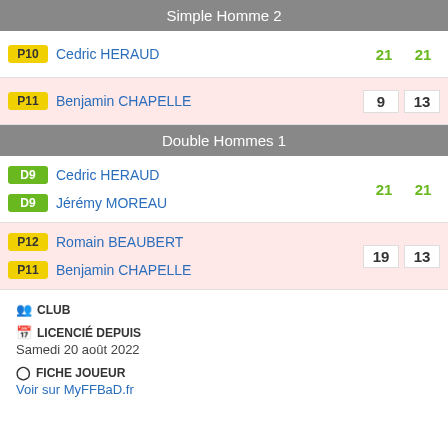Simple Homme 2
| Badge | Player | Score1 | Score2 |
| --- | --- | --- | --- |
| P10 | Cedric HERAUD | 21 | 21 |
| P11 | Benjamin CHAPELLE | 9 | 13 |
Double Hommes 1
| Badge | Player | Score1 | Score2 |
| --- | --- | --- | --- |
| D9 | Cedric HERAUD / Jérémy MOREAU | 21 | 21 |
| P12/P11 | Romain BEAUBERT / Benjamin CHAPELLE | 19 | 13 |
CLUB
LICENCIÉ DEPUIS
Samedi 20 août 2022
FICHE JOUEUR
Voir sur MyFFBaD.fr